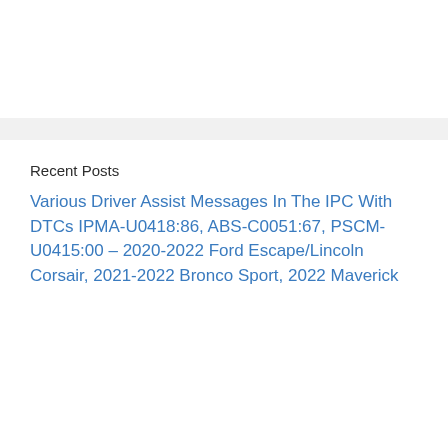Recent Posts
Various Driver Assist Messages In The IPC With DTCs IPMA-U0418:86, ABS-C0051:67, PSCM-U0415:00 – 2020-2022 Ford Escape/Lincoln Corsair, 2021-2022 Bronco Sport, 2022 Maverick